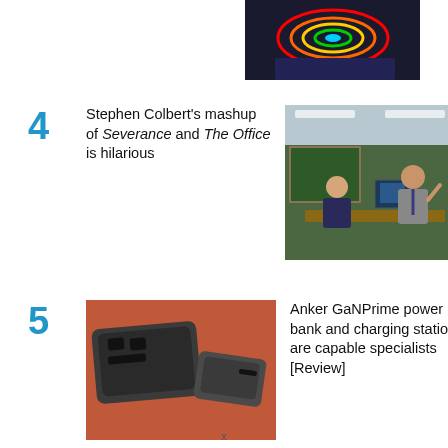[Figure (photo): Cropped top image showing colorful thermal or spectral visualization on a dark surface]
4 Stephen Colbert's mashup of Severance and The Office is hilarious
[Figure (photo): Two men in suits talking in an office setting, one gesturing with hands, computer equipment visible in background]
5 Anker GaNPrime power bank and charging station are capable specialists [Review]
[Figure (photo): Two dark grey Anker GaNPrime power bank devices on an orange/red surface]
x